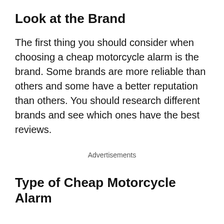Look at the Brand
The first thing you should consider when choosing a cheap motorcycle alarm is the brand. Some brands are more reliable than others and some have a better reputation than others. You should research different brands and see which ones have the best reviews.
Advertisements
Type of Cheap Motorcycle Alarm